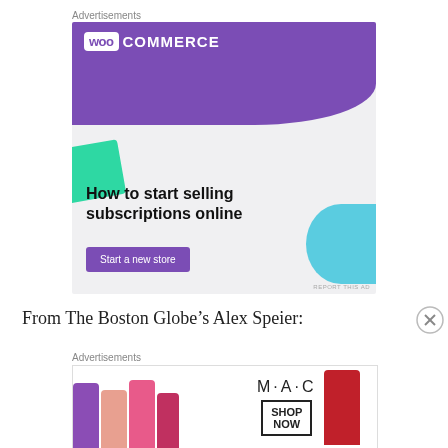Advertisements
[Figure (illustration): WooCommerce advertisement banner. Purple background with WooCommerce logo at top, teal triangle shape on lower left, light blue curved shape on right. Text reads 'How to start selling subscriptions online' with a purple 'Start a new store' button. 'REPORT THIS AD' text at bottom right.]
From The Boston Globe’s Alex Speier:
Advertisements
[Figure (illustration): MAC cosmetics advertisement showing colored lipsticks on the left, MAC logo in center, SHOP NOW box, and a red lipstick on the right.]